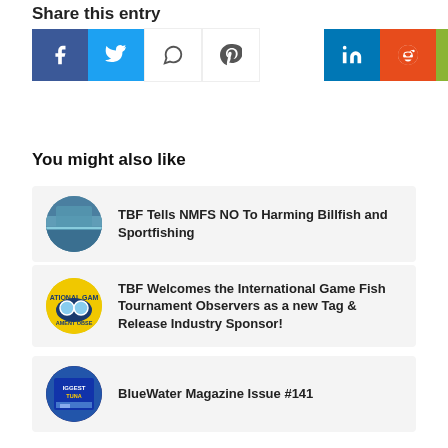Share this entry
[Figure (infographic): Social sharing buttons: Facebook (blue), Twitter (light blue), WhatsApp (white outline), Pinterest (white outline), LinkedIn (blue), Reddit (orange-red), Email (olive green)]
You might also like
[Figure (photo): Circular thumbnail image of water/dam scene]
TBF Tells NMFS NO To Harming Billfish and Sportfishing
[Figure (photo): Circular thumbnail of International Game Fish Tournament Observers logo with yellow/blue mascot]
TBF Welcomes the International Game Fish Tournament Observers as a new Tag & Release Industry Sponsor!
[Figure (photo): Circular thumbnail of BlueWater Magazine storefront/display]
BlueWater Magazine Issue #141